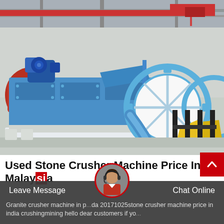[Figure (photo): Industrial sand washing or stone crushing machine in a factory setting, painted blue and white, with large rotating gear/wheel visible on the right side. Red overhead crane visible in background.]
Used Stone Crusher Machine Price In Malaysia
Granite crusher machine in p...da 20171025stone crusher machine price in india crushingmining hello dear customers if yo...